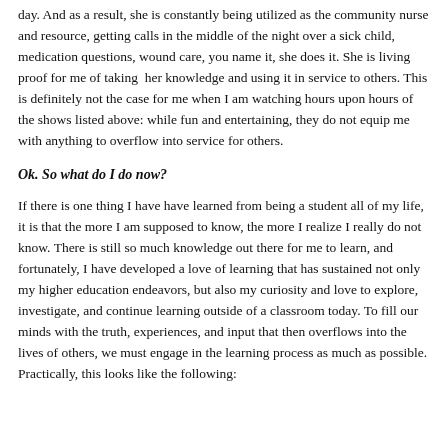day. And as a result, she is constantly being utilized as the community nurse and resource, getting calls in the middle of the night over a sick child, medication questions, wound care, you name it, she does it. She is living proof for me of taking her knowledge and using it in service to others. This is definitely not the case for me when I am watching hours upon hours of the shows listed above: while fun and entertaining, they do not equip me with anything to overflow into service for others.
Ok. So what do I do now?
If there is one thing I have have learned from being a student all of my life, it is that the more I am supposed to know, the more I realize I really do not know. There is still so much knowledge out there for me to learn, and fortunately, I have developed a love of learning that has sustained not only my higher education endeavors, but also my curiosity and love to explore, investigate, and continue learning outside of a classroom today. To fill our minds with the truth, experiences, and input that then overflows into the lives of others, we must engage in the learning process as much as possible. Practically, this looks like the following: